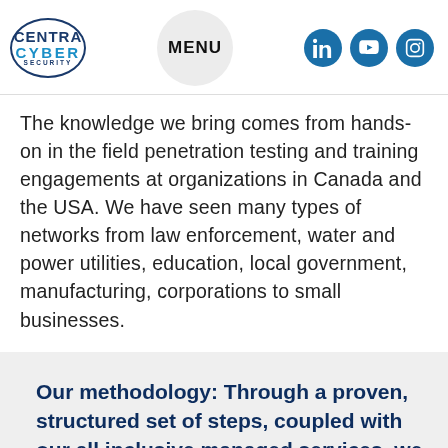[Figure (logo): Centra Cyber Security logo with circular border, blue text]
MENU
The knowledge we bring comes from hands-on in the field penetration testing and training engagements at organizations in Canada and the USA. We have seen many types of networks from law enforcement, water and power utilities, education, local government, manufacturing, corporations to small businesses.
Our methodology: Through a proven, structured set of steps, coupled with our all inclusive managed services, we analyze, detect, and eliminate vulnerabilities found on typical networks.